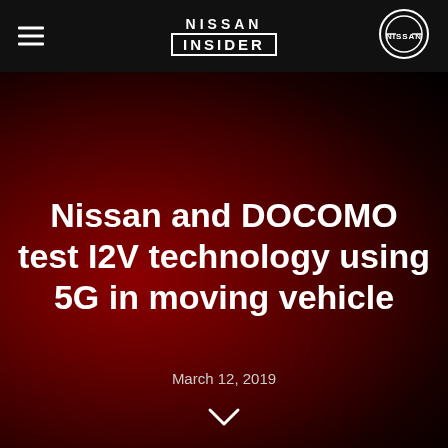NISSAN INSIDER
Nissan and DOCOMO test I2V technology using 5G in moving vehicle
March 12, 2019